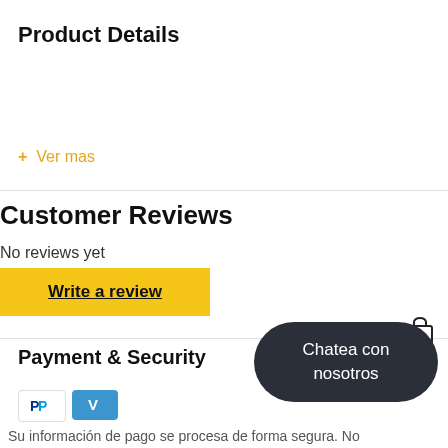Product Details
+ Ver mas
Customer Reviews
No reviews yet
Write a review
Payment & Security
[Figure (logo): PayPal logo]
[Figure (logo): Venmo logo with V]
[Figure (other): Lock/security icon]
Chatea con nosotros
Su información de pago se procesa de forma segura. No